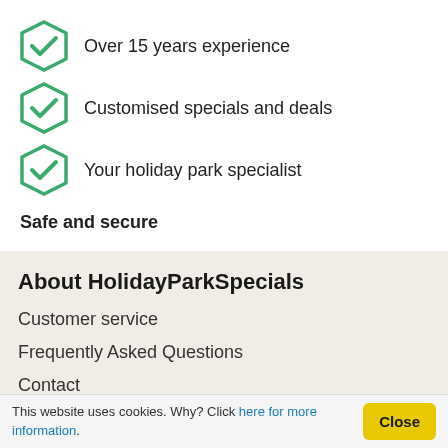Over 15 years experience
Customised specials and deals
Your holiday park specialist
Safe and secure
About HolidayParkSpecials
Customer service
Frequently Asked Questions
Contact
This website uses cookies. Why? Click here for more information.